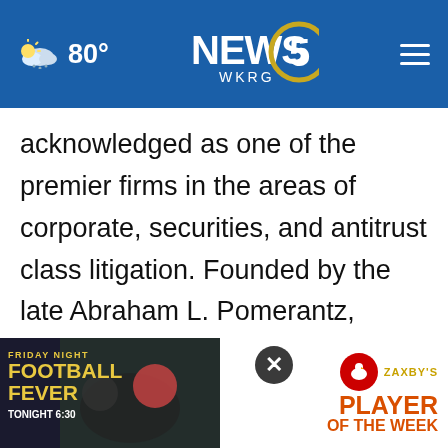NEWS 5 WKRG | 80°
acknowledged as one of the premier firms in the areas of corporate, securities, and antitrust class litigation. Founded by the late Abraham L. Pomerantz, known as the dean of the class action bar, Pomerantz pioneered the field of securities class actions. Today, more than 85 years later, Pomerantz continues in the tradition he established, fighting for the rights of the victims of securities fraud, breaches of fiduciary duty, and corporate misconduct. The Firm has recov[ered...] [obscured by ad]
[Figure (screenshot): Friday Night Football Fever / Zaxby's Player of the Week advertisement overlay with close button]